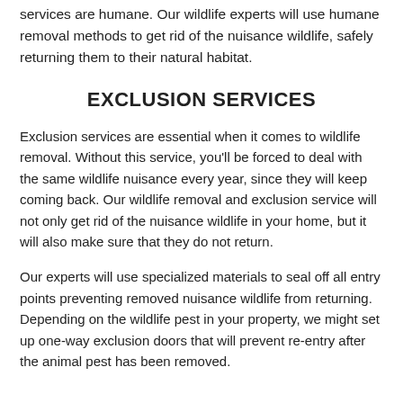services are humane. Our wildlife experts will use humane removal methods to get rid of the nuisance wildlife, safely returning them to their natural habitat.
EXCLUSION SERVICES
Exclusion services are essential when it comes to wildlife removal. Without this service, you'll be forced to deal with the same wildlife nuisance every year, since they will keep coming back. Our wildlife removal and exclusion service will not only get rid of the nuisance wildlife in your home, but it will also make sure that they do not return.
Our experts will use specialized materials to seal off all entry points preventing removed nuisance wildlife from returning. Depending on the wildlife pest in your property, we might set up one-way exclusion doors that will prevent re-entry after the animal pest has been removed.